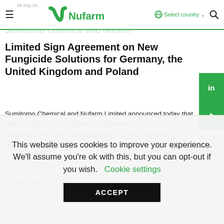Nufarm — 28 Sep 2018 — Select country
Sumitomo Chemical and Nufarm
Limited Sign Agreement on New Fungicide Solutions for Germany, the United Kingdom and Poland
Sumitomo Chemical and Nufarm Limited announced today that both companies have signed an agreement on the novel fungicide compound 'metyltetraprole,' for key European markets.   Click here to read the announcement.
26 Sep 2018
This website uses cookies to improve your experience. We'll assume you're ok with this, but you can opt-out if you wish.
Cookie settings
ACCEPT